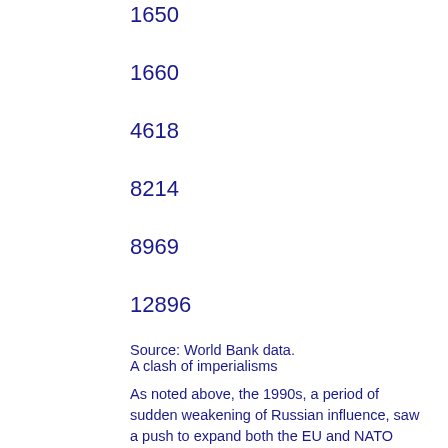1650
1660
4618
8214
8969
12896
Source: World Bank data.
A clash of imperialisms
As noted above, the 1990s, a period of sudden weakening of Russian influence, saw a push to expand both the EU and NATO towards Russia's frontiers (figure 3).
Figure 3: NATO's eastward expansion in Europe
Poland, Hungary and Czechoslovakia (later Czechia and Slovakia) had formed the Visegrád group as early as 1991 to press for both EU and NATO membership. However, it was under Bill Clinton's US administration that expansion took place. The 1999 NATO summit led him...